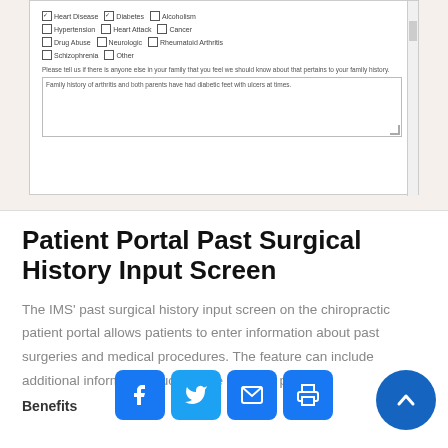[Figure (screenshot): Screenshot of a patient portal family history form showing checkboxes for Heart Disease, Diabetes, Alcoholism, Hypertension, Heart Attack, Cancer, Drug Abuse, Neurologic, Rheumatoid Arthritis, Schizophrenia, Other; a prompt asking about other family history; and a text area with the entry 'Family history of arthritis and both parents have had diabetic feet with ulcers at times.']
Patient Portal Past Surgical History Input Screen
The IMS' past surgical history input screen on the chiropractic patient portal allows patients to enter information about past surgeries and medical procedures. The feature can include additional information such as the date the proced
Benefits